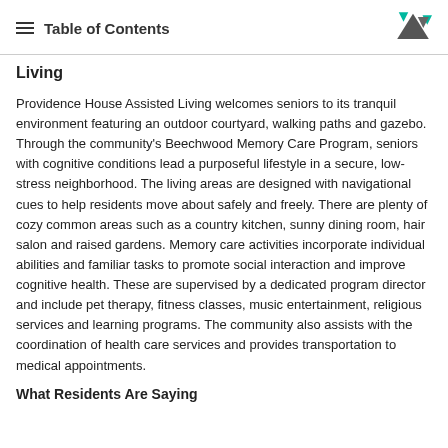Table of Contents
Living
Providence House Assisted Living welcomes seniors to its tranquil environment featuring an outdoor courtyard, walking paths and gazebo. Through the community's Beechwood Memory Care Program, seniors with cognitive conditions lead a purposeful lifestyle in a secure, low-stress neighborhood. The living areas are designed with navigational cues to help residents move about safely and freely. There are plenty of cozy common areas such as a country kitchen, sunny dining room, hair salon and raised gardens. Memory care activities incorporate individual abilities and familiar tasks to promote social interaction and improve cognitive health. These are supervised by a dedicated program director and include pet therapy, fitness classes, music entertainment, religious services and learning programs. The community also assists with the coordination of health care services and provides transportation to medical appointments.
What Residents Are Saying